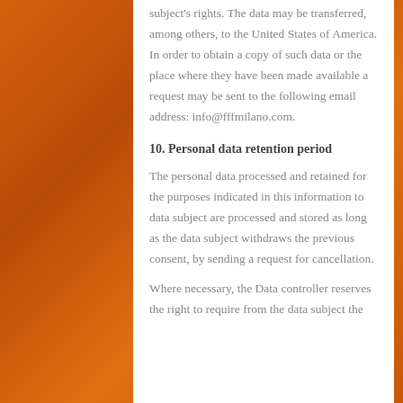subject's rights. The data may be transferred, among others, to the United States of America. In order to obtain a copy of such data or the place where they have been made available a request may be sent to the following email address: info@fffmilano.com.
10. Personal data retention period
The personal data processed and retained for the purposes indicated in this information to data subject are processed and stored as long as the data subject withdraws the previous consent, by sending a request for cancellation.
Where necessary, the Data controller reserves the right to require from the data subject the